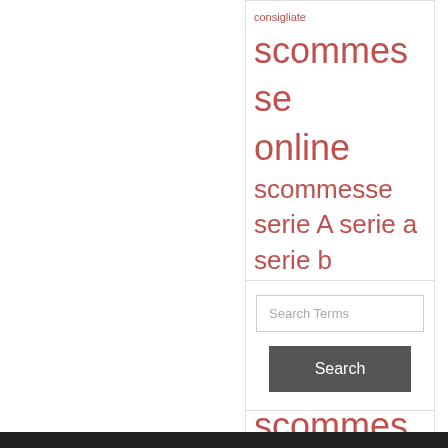consigliate scommesse online scommesse serie A serie a serie b tennis tornei poker vincere scommesse
Search Terms
Search